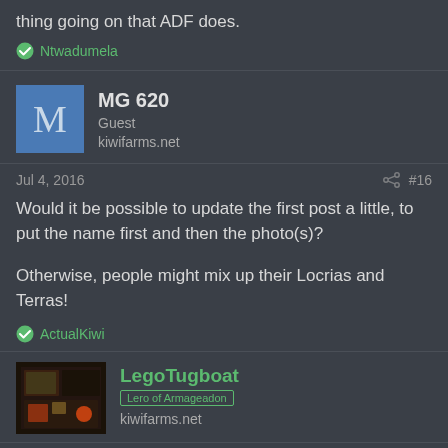thing going on that ADF does.
Ntwadumela
MG 620
Guest
kiwifarms.net
Jul 4, 2016   #16
Would it be possible to update the first post a little, to put the name first and then the photo(s)?

Otherwise, people might mix up their Locrias and Terras!
ActualKiwi
LegoTugboat
kiwifarms.net
Jul 5, 2016   #17